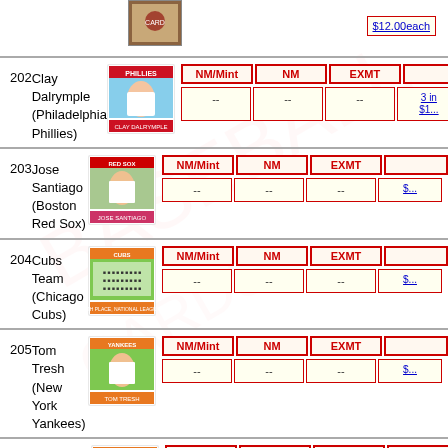[Figure (photo): Baseball card image at top, partially visible]
$12.00each
| # | Player | Card | NM/Mint | NM | EXMT | Price/Stock |
| --- | --- | --- | --- | --- | --- | --- |
| 202 | Clay Dalrymple (Philadelphia Phillies) | [card image] | -- | -- | -- | 3 in stock $1... |
| 203 | Jose Santiago (Boston Red Sox) | [card image] | -- | -- | -- | $... |
| 204 | Cubs Team (Chicago Cubs) | [card image] | -- | -- | -- | $... |
| 205 | Tom Tresh (New York Yankees) | [card image] | -- | -- | -- | $... |
| 206 | Alvin Jackson (St. Louis Cardinals) | [card image] | -- | -- | -- | 1 in stock |